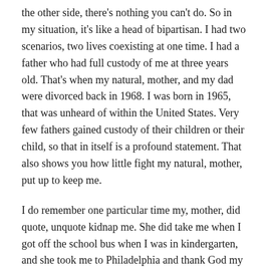the other side, there's nothing you can't do.  So in my situation, it's like a head of bipartisan.  I had two scenarios, two lives coexisting at one time.  I had a father who had full custody of me at three years old.  That's when my natural, mother, and my dad were divorced back in 1968.  I was born in 1965, that was unheard of within the United States.  Very few fathers gained custody of their children or their child, so that in itself is a profound statement.  That also shows you how little fight my natural, mother, put up to keep me.
I do remember one particular time my, mother,  did quote, unquote kidnap me.  She did take me when I got off the school bus when I was in kindergarten, and she took me to Philadelphia and thank God my father and the FBI came and rescued me. But even when she's so-called put forth some effort, to show that she wanted me, it was still a situation where I was locked up in a room, there